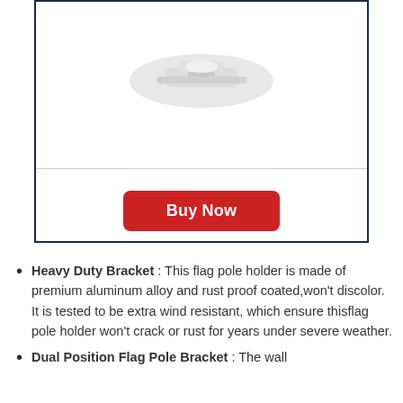[Figure (photo): Product photo of a flag pole bracket/holder made of aluminum alloy, white colored, shown partially at top of a bordered product card]
Buy Now
Heavy Duty Bracket : This flag pole holder is made of premium aluminum alloy and rust proof coated,won't discolor. It is tested to be extra wind resistant, which ensure thisflag pole holder won't crack or rust for years under severe weather.
Dual Position Flag Pole Bracket : The wall